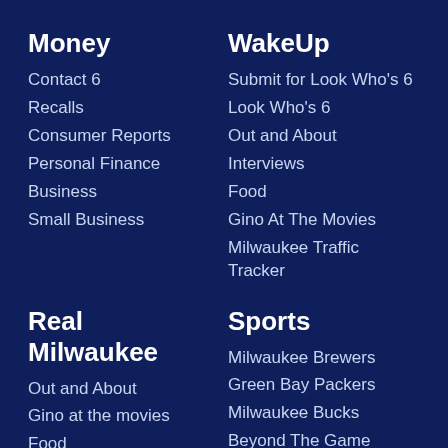Money
Contact 6
Recalls
Consumer Reports
Personal Finance
Business
Small Business
WakeUp
Submit for Look Who's 6
Look Who's 6
Out and About
Interviews
Food
Gino At The Movies
Milwaukee Traffic Tracker
Real Milwaukee
Out and About
Gino at the movies
Food
Lifestyle
Family
Money
Sports
Milwaukee Brewers
Green Bay Packers
Milwaukee Bucks
Beyond The Game
Wisconsin Badgers
Marquette Golden